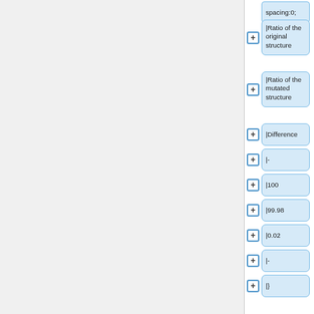spacing:0;
|Ratio of the original structure
|Ratio of the mutated structure
|Difference
|-
|100
|99.98
|0.02
|-
|}
In this case the difference between the two ratios is nearby 0.